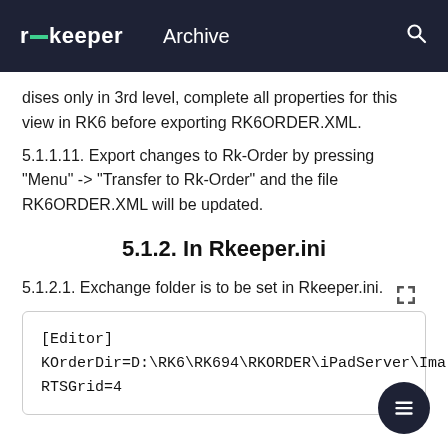r_keeper  Archive
dises only in 3rd level, complete all properties for this view in RK6 before exporting RK6ORDER.XML.
5.1.1.11. Export changes to Rk-Order by pressing "Menu" -> "Transfer to Rk-Order" and the file RK6ORDER.XML will be updated.
5.1.2. In Rkeeper.ini
5.1.2.1. Exchange folder is to be set in Rkeeper.ini.
[Figure (screenshot): Code block showing [Editor] section with KOrderDir and RTSGrid settings]
[Editor]
KOrderDir=D:\RK6\RK694\RKORDER\iPadServer\Ima
RTSGrid=4